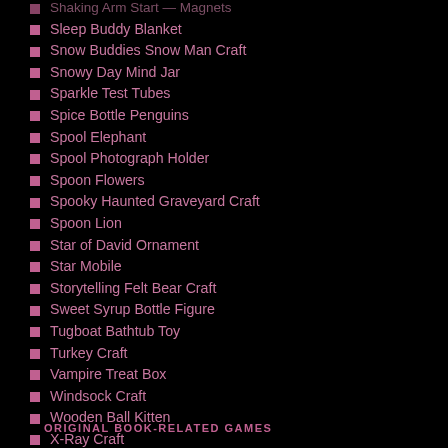Sleep Buddy Blanket
Snow Buddies Snow Man Craft
Snowy Day Mind Jar
Sparkle Test Tubes
Spice Bottle Penguins
Spool Elephant
Spool Photograph Holder
Spoon Flowers
Spooky Haunted Graveyard Craft
Spoon Lion
Star of David Ornament
Star Mobile
Storytelling Felt Bear Craft
Sweet Syrup Bottle Figure
Tugboat Bathtub Toy
Turkey Craft
Vampire Treat Box
Windsock Craft
Wooden Ball Kitten
X-Ray Craft
ORIGINAL BOOK-RELATED GAMES